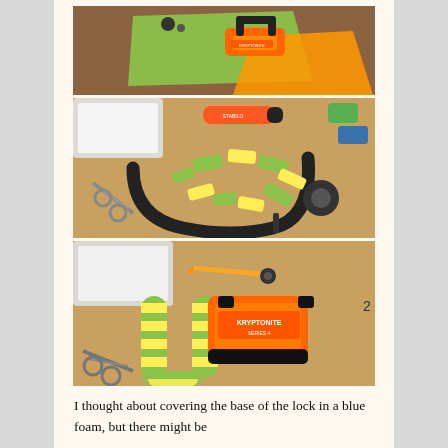[Figure (photo): Top photo: U-lock/bike lock with orange body on a green paper surface on a wooden table, with key fob nearby]
[Figure (photo): Middle photo: U-lock being covered with alternating green and yellow foam pieces cut from highlighter pens, scissors and highlighter marker visible on wooden desk]
[Figure (photo): Bottom photo: Completed U-lock with green and yellow striped foam wrap around the shackle, orange lock body, scissors and pencil visible on wooden desk]
I thought about covering the base of the lock in a blue foam, but there might be